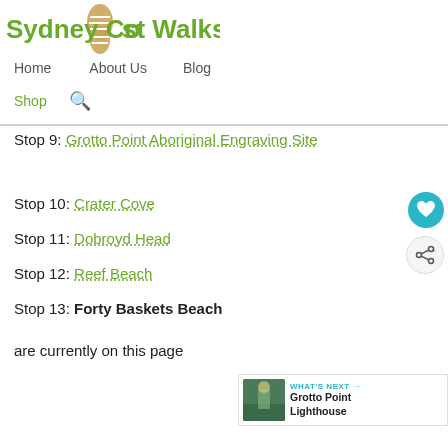[Figure (logo): Sydney Coast Walks logo with green text and a footprint icon]
Home   About Us   Blog
Shop  [search icon]
Stop 9: Grotto Point Aboriginal Engraving Site
Stop 10: Crater Cove
Stop 11: Dobroyd Head
Stop 12: Reef Beach
Stop 13: Forty Baskets Beach
are currently on this page
[Figure (infographic): WHAT'S NEXT arrow with thumbnail image and text: Grotto Point Lighthouse]